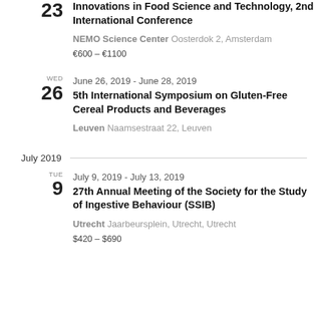23
Innovations in Food Science and Technology, 2nd International Conference
NEMO Science Center Oosterdok 2, Amsterdam
€600 – €1100
WED 26 June 26, 2019 - June 28, 2019
5th International Symposium on Gluten-Free Cereal Products and Beverages
Leuven Naamsestraat 22, Leuven
July 2019
TUE 9 July 9, 2019 - July 13, 2019
27th Annual Meeting of the Society for the Study of Ingestive Behaviour (SSIB)
Utrecht Jaarbeursplein, Utrecht, Utrecht
$420 – $690